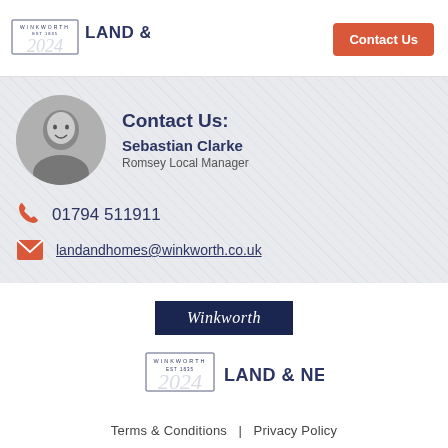[Figure (logo): Winkworth Land & New Homes logo top left]
Contact Us
[Figure (photo): Black and white circular headshot of Sebastian Clarke]
Contact Us:
Sebastian Clarke
Romsey Local Manager
01794 511911
landandhomes@winkworth.co.uk
[Figure (logo): Winkworth dark navy box logo]
[Figure (logo): Winkworth Land & New Homes logo bottom center]
Terms & Conditions   |   Privacy Policy